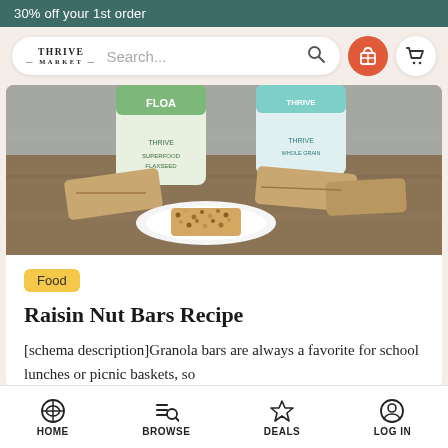30% off your 1st order
[Figure (screenshot): Thrive Market logo and search bar with gift icon and cart icon]
[Figure (photo): Photo of Thrive Market flour/grain product bags with granola bars wrapped in brown paper on a wooden surface with a white plate]
Food
Raisin Nut Bars Recipe
[schema description]Granola bars are always a favorite for school lunches or picnic baskets, so
HOME  BROWSE  DEALS  LOG IN